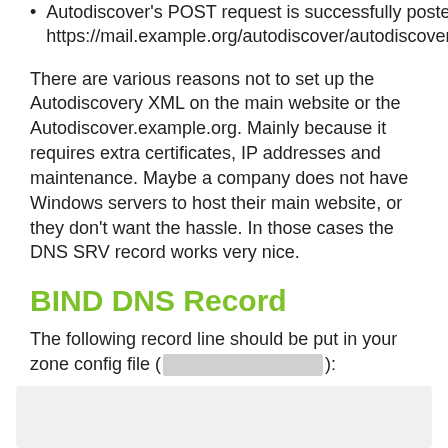Autodiscover's POST request is successfully posted to https://mail.example.org/autodiscover/autodiscover.xml.
There are various reasons not to set up the Autodiscovery XML on the main website or the Autodiscover.example.org. Mainly because it requires extra certificates, IP addresses and maintenance. Maybe a company does not have Windows servers to host their main website, or they don't want the hassle. In those cases the DNS SRV record works very nice.
BIND DNS Record
The following record line should be put in your zone config file ( ):